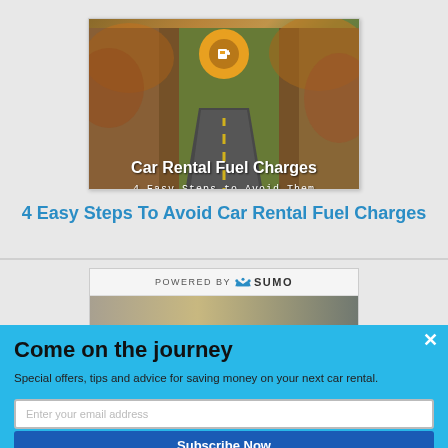[Figure (illustration): Article thumbnail image showing a winding road through autumn trees with a fuel gauge icon and text 'Car Rental Fuel Charges - 4 Easy Steps to Avoid Them']
4 Easy Steps To Avoid Car Rental Fuel Charges
[Figure (screenshot): Partially visible second article preview with 'POWERED BY SUMO' branding bar and a landscape image below]
Come on the journey
Special offers, tips and advice for saving money on your next car rental.
Enter your email address
Subscribe Now